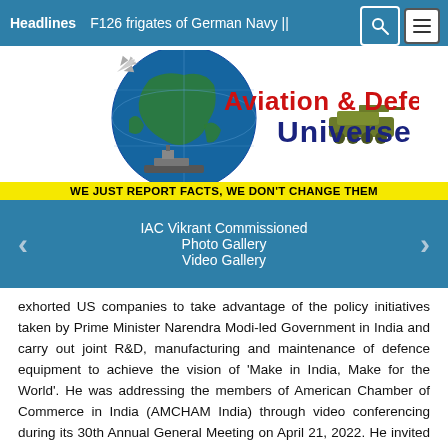Headlines   F126 frigates of German Navy ||
[Figure (logo): Aviation & Defence Universe logo with globe, aircraft, ships, and tank imagery. Tagline: WE JUST REPORT FACTS, WE DON'T CHANGE THEM]
IAC Vikrant Commissioned
Photo Gallery
Video Gallery
exhorted US companies to take advantage of the policy initiatives taken by Prime Minister Narendra Modi-led Government in India and carry out joint R&D, manufacturing and maintenance of defence equipment to achieve the vision of 'Make in India, Make for the World'. He was addressing the members of American Chamber of Commerce in India (AMCHAM India) through video conferencing during its 30th Annual General Meeting on April 21, 2022. He invited the US companies for co-production, co-development, investment promotion and development of Maintenance Repair and